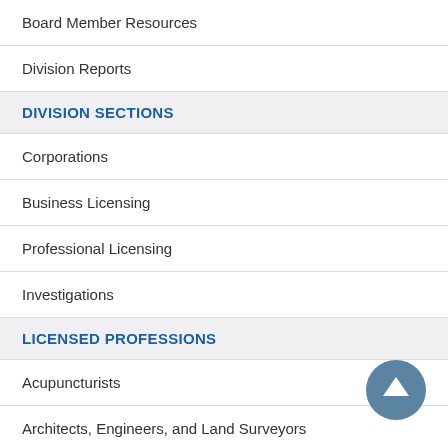Board Member Resources
Division Reports
DIVISION SECTIONS
Corporations
Business Licensing
Professional Licensing
Investigations
LICENSED PROFESSIONS
Acupuncturists
Architects, Engineers, and Land Surveyors
Athletic Trainers
Audiologists & Speech-Language Pathologists